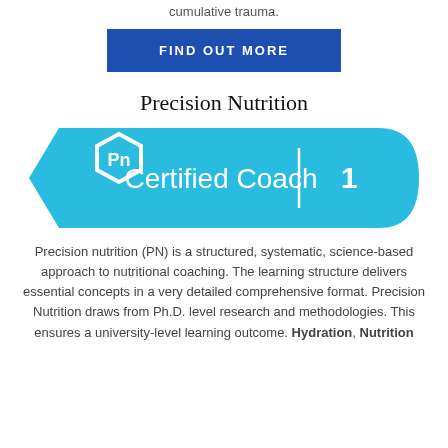cumulative trauma.
FIND OUT MORE
Precision Nutrition
[Figure (logo): Precision Nutrition Certified Coach Level 1 badge — a cyan/light-blue arrow-shaped badge with hexagon Pn logo on left, text 'Certified Coach | 1' in white]
Precision nutrition (PN) is a structured, systematic, science-based approach to nutritional coaching. The learning structure delivers essential concepts in a very detailed comprehensive format. Precision Nutrition draws from Ph.D. level research and methodologies. This ensures a university-level learning outcome. Hydration, Nutrition